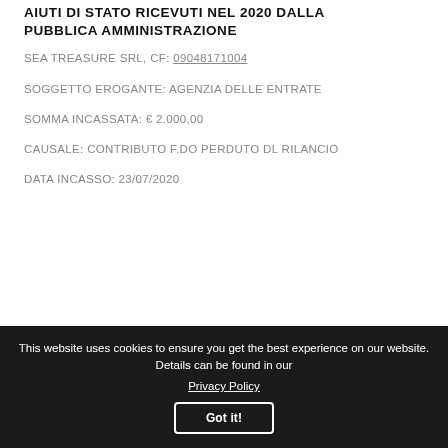AIUTI DI STATO RICEVUTI NEL 2020 DALLA PUBBLICA AMMINISTRAZIONE
SEA TREASURE SRL, CF: 09048171004
SOGGETTO EROGANTE: AGENZIA DELLE ENTRATE
SOMMA INCASSATA: € 2.000,00
CAUSALE: CONTRIBUTO F.DO PERDUTO DL RILANCIO
DATA INCASSO: 23/07/2020
This website uses cookies to ensure you get the best experience on our website. Details can be found in our Privacy Policy
Got it!